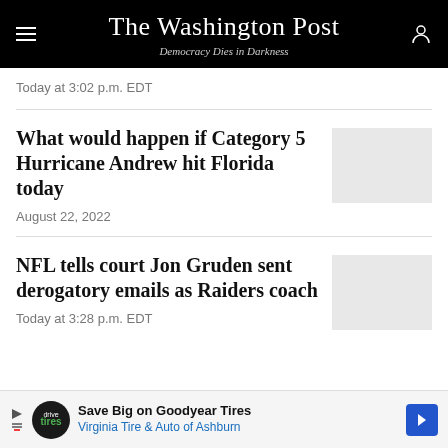The Washington Post — Democracy Dies in Darkness
Today at 3:02 p.m. EDT
What would happen if Category 5 Hurricane Andrew hit Florida today
August 22, 2022
NFL tells court Jon Gruden sent derogatory emails as Raiders coach
Today at 3:28 p.m. EDT
Save Big on Goodyear Tires — Virginia Tire & Auto of Ashburn